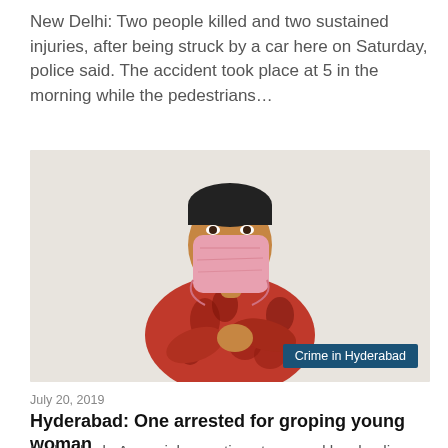New Delhi: Two people killed and two sustained injuries, after being struck by a car here on Saturday, police said. The accident took place at 5 in the morning while the pedestrians…
[Figure (photo): A young man wearing a pink face covering/mask and a red patterned shirt, with a label overlay reading 'Crime in Hyderabad' in the bottom right corner.]
July 20, 2019
Hyderabad: One arrested for groping young woman
Hyderabad : A special operations team and local police on Friday arrested one person for allegedly groping a 19-year-old woman on the road in LB Nagar area here